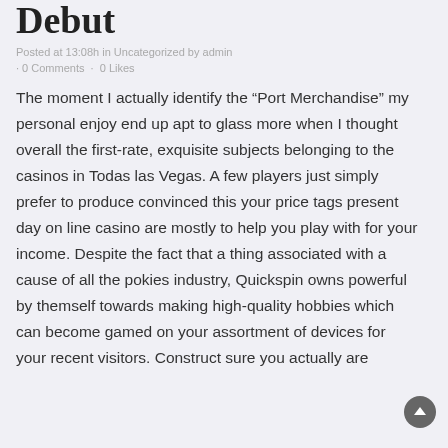Debut
Posted at 13:08h in Uncategorized by admin · 0 Comments · 0 Likes
The moment I actually identify the “Port Merchandise” my personal enjoy end up apt to glass more when I thought overall the first-rate, exquisite subjects belonging to the casinos in Todas las Vegas. A few players just simply prefer to produce convinced this your price tags present day on line casino are mostly to help you play with for your income. Despite the fact that a thing associated with a cause of all the pokies industry, Quickspin owns powerful by themself towards making high-quality hobbies which can become gamed on your assortment of devices for your recent visitors. Construct sure you actually are